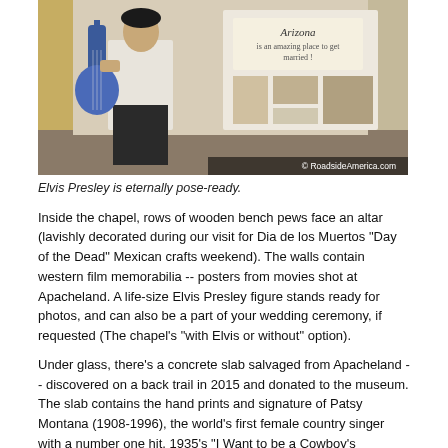[Figure (photo): Photo of a life-size Elvis Presley figure holding a blue guitar, standing in front of a display with photos and a sign reading 'Arizona is an amazing place to get married!' with a copyright watermark for RoadsideAmerica.com]
Elvis Presley is eternally pose-ready.
Inside the chapel, rows of wooden bench pews face an altar (lavishly decorated during our visit for Dia de los Muertos "Day of the Dead" Mexican crafts weekend). The walls contain western film memorabilia -- posters from movies shot at Apacheland. A life-size Elvis Presley figure stands ready for photos, and can also be a part of your wedding ceremony, if requested (The chapel's "with Elvis or without" option).
Under glass, there's a concrete slab salvaged from Apacheland -- discovered on a back trail in 2015 and donated to the museum. The slab contains the hand prints and signature of Patsy Montana (1908-1996), the world's first female country singer with a number one hit, 1935's "I Want to be a Cowboy's Sweetheart." A sign advises: "Push the button to hear her sing her big song!"